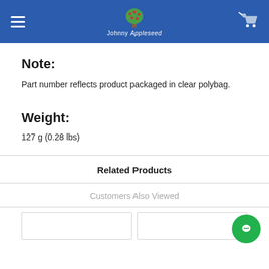Johnny Appleseed
Note:
Part number reflects product packaged in clear polybag.
Weight:
127 g (0.28 lbs)
Related Products
Customers Also Viewed